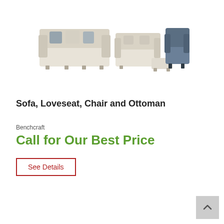[Figure (photo): Product image showing a furniture set: a large sofa with decorative pillows in light beige/cream fabric, a loveseat in the same beige fabric, a dark blue/slate accent chair, and a matching beige ottoman arranged together.]
Sofa, Loveseat, Chair and Ottoman
Benchcraft
Call for Our Best Price
See Details